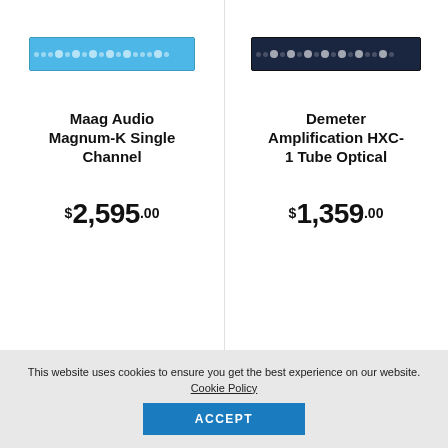[Figure (photo): Maag Audio Magnum-K Single Channel rack unit — blue/cyan colored 1U rackmount unit]
Maag Audio Magnum-K Single Channel
$2,595.00
[Figure (photo): Demeter Amplification HXC-1 Tube Optical rack unit — dark navy/black 1U rackmount unit]
Demeter Amplification HXC-1 Tube Optical
$1,359.00
This website uses cookies to ensure you get the best experience on our website. Cookie Policy
ACCEPT